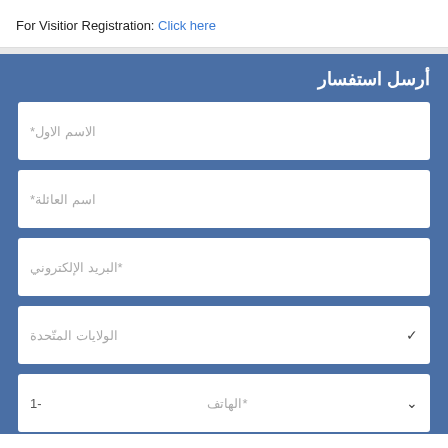For Visitior Registration: Click here
أرسل استفسار
الاسم الاول*
اسم العائلة*
*البريد الإلكتروني
الولايات المتّحدة
*الهاتف   -1
مرحباً، أنا مهتم بمعرضك.